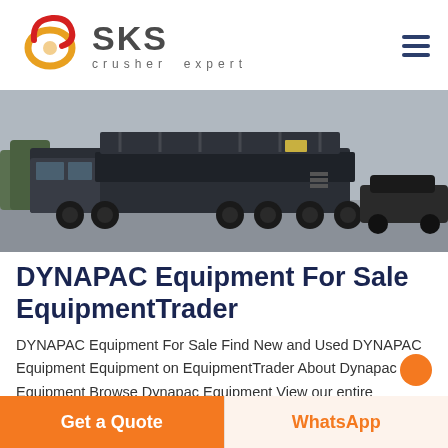[Figure (logo): SKS crusher expert logo with stylized red/orange swirl emblem on the left and 'SKS' text with 'crusher expert' subtitle in grey]
[Figure (photo): Hero image showing large heavy equipment truck/trailer on a road, dark industrial vehicle]
DYNAPAC Equipment For Sale EquipmentTrader
DYNAPAC Equipment For Sale Find New and Used DYNAPAC Equipment Equipment on EquipmentTrader About Dynapac Equipment Browse Dynapac Equipment View our entire inventory of New or Used Dynapac Equipment Construction Equipmen...
Get a Quote
WhatsApp